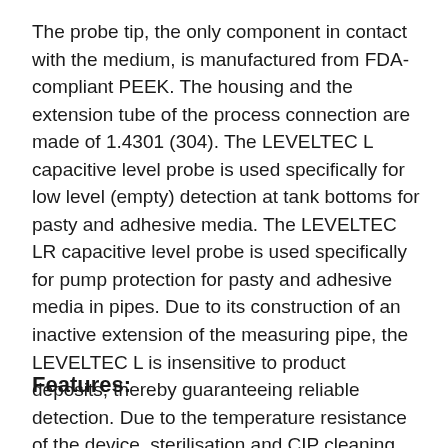The probe tip, the only component in contact with the medium, is manufactured from FDA-compliant PEEK. The housing and the extension tube of the process connection are made of 1.4301 (304). The LEVELTEC L capacitive level probe is used specifically for low level (empty) detection at tank bottoms for pasty and adhesive media. The LEVELTEC LR capacitive level probe is used specifically for pump protection for pasty and adhesive media in pipes. Due to its construction of an inactive extension of the measuring pipe, the LEVELTEC L is insensitive to product deposits, thereby guaranteeing reliable detection. Due to the temperature resistance of the device, sterilisation and CIP cleaning can be performed.
Features: